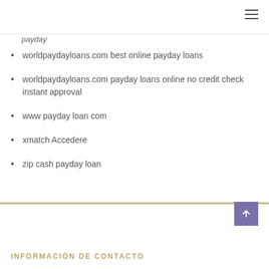payday
worldpaydayloans.com best online payday loans
worldpaydayloans.com payday loans online no credit check instant approval
www payday loan com
xmatch Accedere
zip cash payday loan
INFORMACIÓN DE CONTACTO